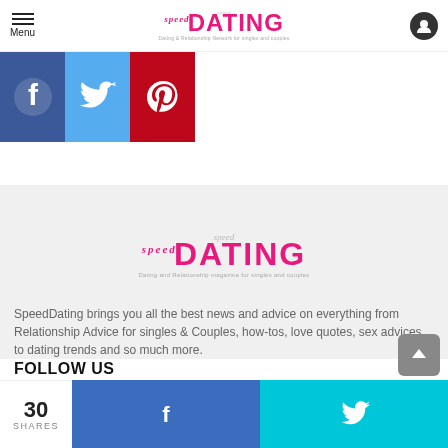Menu | speed DATING - Dating & Relationship Network for singles and couples
[Figure (illustration): Three social media icons: Facebook (blue), Twitter (light blue), Pinterest (red)]
[Figure (logo): Speed DATING logo - Dating and Relationship magazine for singles and couples]
SpeedDating brings you all the best news and advice on everything from Relationship Advice for singles & Couples, how-tos, love quotes, sex advices, to dating trends and so much more.
FOLLOW US
[Figure (illustration): Three circular social media icons at bottom: gray circle, Twitter blue bird, pink/red circle]
30 SHARES  f  Twitter bird